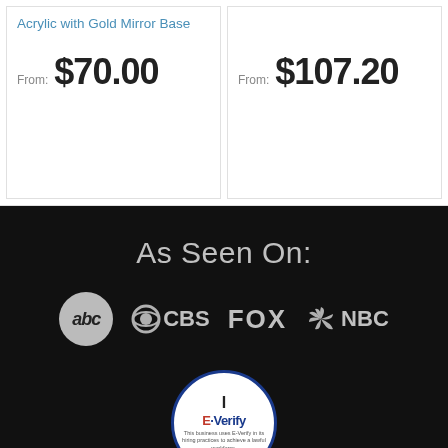Acrylic with Gold Mirror Base
From: $70.00
From: $107.20
As Seen On:
[Figure (logo): Media network logos: abc, CBS, FOX, NBC displayed in gray on black background]
[Figure (logo): E-Verify badge: circular badge with 'I E-Verify' text and subtext 'This business uses E-Verify in its hiring practices to achieve a lawful workforce.']